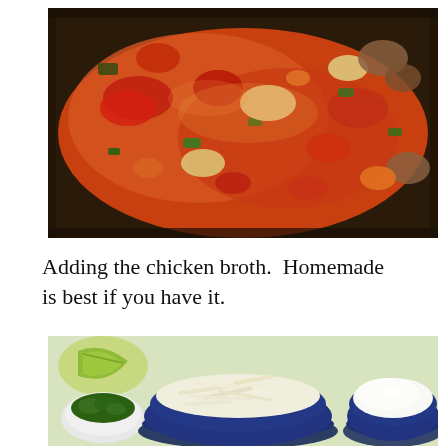[Figure (photo): Close-up photo of a pan with chicken broth being added to sauteed vegetables including tomatoes, green peppers, carrots, onions, and mushrooms in a red-orange sauce.]
Adding the chicken broth.  Homemade is best if you have it.
[Figure (photo): Photo of taco soup toppings laid out in bowls: shredded white cheese in a dark blue bowl, sour cream in a dark blue bowl, fresh cilantro in a small white bowl, and a lime wedge.]